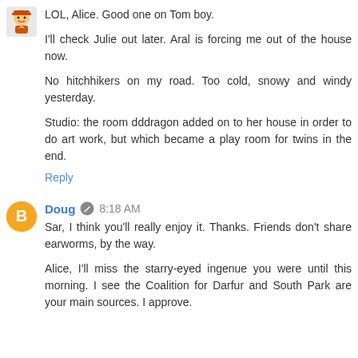[Figure (illustration): Small avatar image of a cartoon character in top-left corner]
LOL, Alice. Good one on Tom boy.

I'll check Julie out later. Aral is forcing me out of the house now.

No hitchhikers on my road. Too cold, snowy and windy yesterday.

Studio: the room dddragon added on to her house in order to do art work, but which became a play room for twins in the end.
Reply
[Figure (illustration): Orange circle avatar with white letter B (Blogger icon)]
Doug 8:18 AM
Sar, I think you'll really enjoy it. Thanks. Friends don't share earworms, by the way.

Alice, I'll miss the starry-eyed ingenue you were until this morning. I see the Coalition for Darfur and South Park are your main sources. I approve.